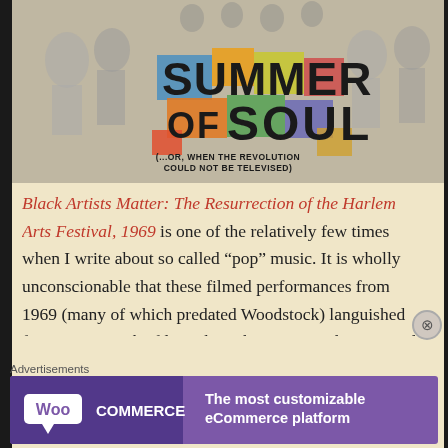[Figure (illustration): Movie poster for 'Summer of Soul (...Or, When the Revolution Could Not Be Televised)' - colorful graphic with bold text over black and white background crowd imagery]
Black Artists Matter: The Resurrection of the Harlem Arts Festival, 1969 is one of the relatively few times when I write about so called “pop” music. It is wholly unconscionable that these filmed performances from 1969 (many of which predated Woodstock) languished for 50 years in the filmmaker’s basement and were nearly
Advertisements
[Figure (logo): WooCommerce advertisement banner: 'The most customizable eCommerce platform' on purple background]